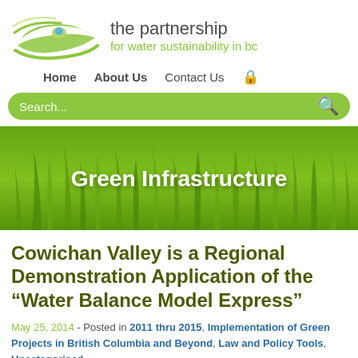[Figure (logo): The Partnership for Water Sustainability in BC logo — green leaf with water droplet and swoosh lines]
the partnership
for water sustainability in bc
Home   About Us   Contact Us
[Figure (screenshot): Green rounded search bar with 'Search...' placeholder text and magnifying glass icon]
[Figure (photo): Banner image of green grass with text 'Green Infrastructure' overlaid in white bold text]
Cowichan Valley is a Regional Demonstration Application of the “Water Balance Model Express”
May 25, 2014 - Posted in 2011 thru 2015, Implementation of Green Projects in British Columbia and Beyond, Law and Policy Tools, Uncategorised